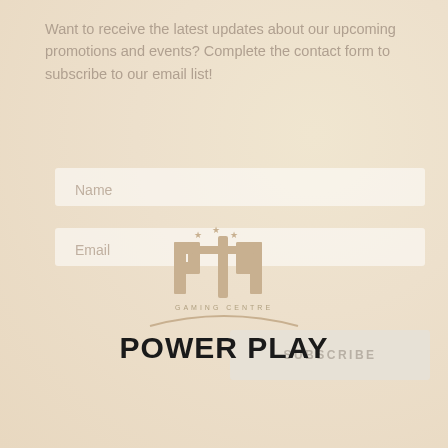Want to receive the latest updates about our upcoming promotions and events? Complete the contact form to subscribe to our email list!
[Figure (logo): Power Play Gaming Centre logo with two stylized P letters and stars, golden/tan color, with arc underneath and 'GAMING CENTRE' text, bold 'POWER PLAY' text at bottom]
Name
Email
SUBSCRIBE